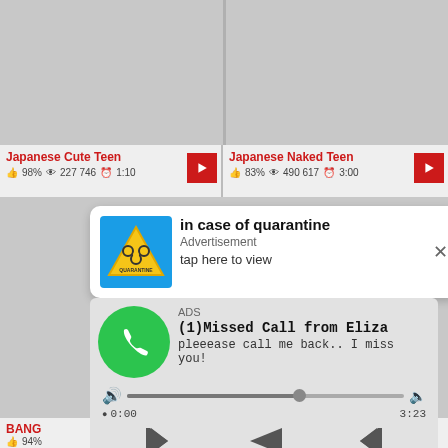[Figure (screenshot): Gray thumbnail placeholder for video 'Japanese Cute Teen']
[Figure (screenshot): Gray thumbnail placeholder for video 'Japanese Naked Teen']
Japanese Cute Teen
👍 98%  👁 227 746  🕐 1:10
Japanese Naked Teen
👍 83%  👁 490 617  🕐 3:00
[Figure (infographic): Quarantine ad notification: 'in case of quarantine' Advertisement tap here to view]
[Figure (infographic): Missed Call ad: ADS (1)Missed Call from Eliza pleeease call me back.. I miss you! with audio player controls showing 0:00 / 3:23]
BANG
👍 94%